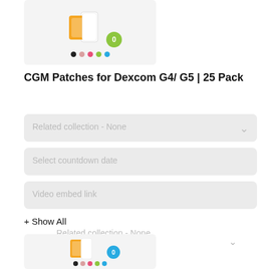[Figure (screenshot): Product image of CGM patches in orange color with a green circular badge showing '0', displayed on a light gray background with colored dots below]
CGM Patches for Dexcom G4/ G5 | 25 Pack
Related collection - None
Select countdown date
Video embed link
+ Show All
[Figure (screenshot): Product image of CGM patches in orange color with a blue circular badge showing '0', displayed on a light gray background with colored dots below]